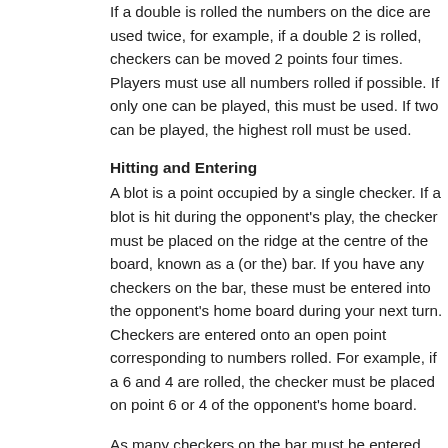If a double is rolled the numbers on the dice are used twice, for example, if a double 2 is rolled, checkers can be moved 2 points four times. Players must use all numbers rolled if possible. If only one can be played, this must be used. If two can be played, the highest roll must be used.
Hitting and Entering
A blot is a point occupied by a single checker. If a blot is hit during the opponent's play, the checker must be placed on the ridge at the centre of the board, known as a (or the) bar. If you have any checkers on the bar, these must be entered into the opponent's home board during your next turn. Checkers are entered onto an open point corresponding to numbers rolled. For example, if a 6 and 4 are rolled, the checker must be placed on point 6 or 4 of the opponent's home board.
As many checkers on the bar must be entered (return to the game) as possible. If there are no open points corresponding to the dice roll, the player loses a turn. If only one checker can be entered, the remainder of the player's turn is lost. When the player has no m